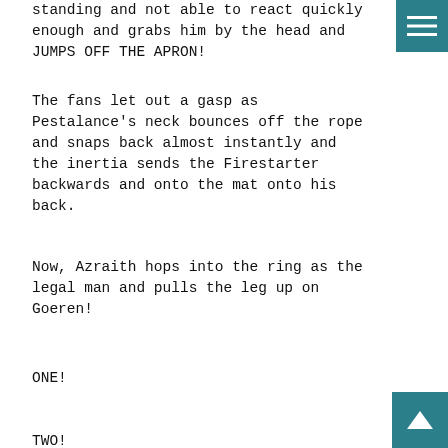standing and not able to react quickly enough and grabs him by the head and JUMPS OFF THE APRON!
The fans let out a gasp as Pestalance's neck bounces off the rope and snaps back almost instantly and the inertia sends the Firestarter backwards and onto the mat onto his back.
Now, Azraith hops into the ring as the legal man and pulls the leg up on Goeren!
ONE!
TWO!